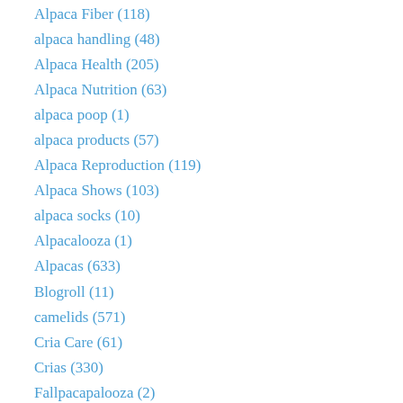Alpaca Fiber (118)
alpaca handling (48)
Alpaca Health (205)
Alpaca Nutrition (63)
alpaca poop (1)
alpaca products (57)
Alpaca Reproduction (119)
Alpaca Shows (103)
alpaca socks (10)
Alpacalooza (1)
Alpacas (633)
Blogroll (11)
camelids (571)
Cria Care (61)
Crias (330)
Fallpacapalooza (2)
Family (108)
farm store (8)
General (616)
guard llamas (40)